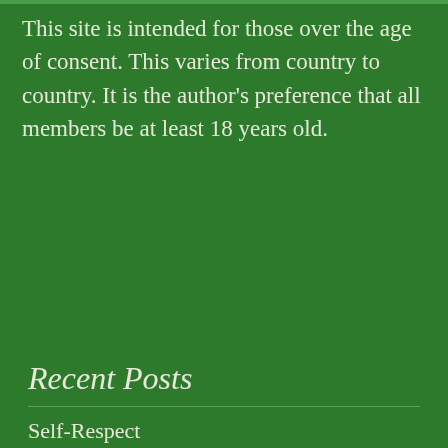This site is intended for those over the age of consent. This varies from country to country. It is the author's preference that all members be at least 18 years old.
Recent Posts
Self-Respect
The World Has Gone to Shite
Unfucking Fate
663
Episode Four: Fire Breaks